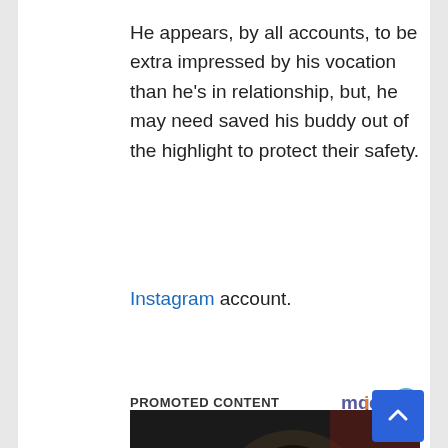He appears, by all accounts, to be extra impressed by his vocation than he's in relationship, but, he may need saved his buddy out of the highlight to protect their safety.
Instagram account.
PROMOTED CONTENT
[Figure (photo): A woman with long dark hair sitting in a dimly lit restaurant, with another person visible in the background]